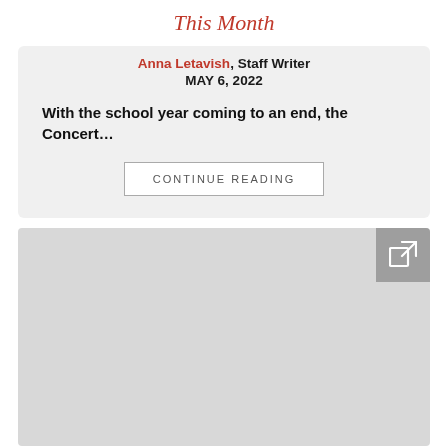This Month
Anna Letavish, Staff Writer
MAY 6, 2022
With the school year coming to an end, the Concert…
CONTINUE READING
[Figure (other): Gray placeholder image block with an external link icon in the top-right corner]